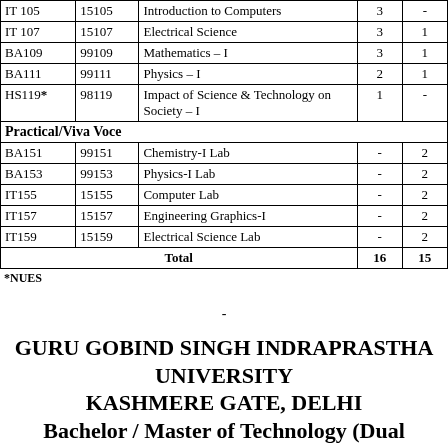| Course No. | Paper Code | Paper | L | P |
| --- | --- | --- | --- | --- |
| IT 105 | 15105 | Introduction to Computers | 3 | - |
| IT 107 | 15107 | Electrical Science | 3 | 1 |
| BA109 | 99109 | Mathematics – I | 3 | 1 |
| BA111 | 99111 | Physics – I | 2 | 1 |
| HS119* | 98119 | Impact of Science & Technology on Society – I | 1 | - |
| Practical/Viva Voce |  |  |  |  |
| BA151 | 99151 | Chemistry-I Lab | - | 2 |
| BA153 | 99153 | Physics-I Lab | - | 2 |
| IT155 | 15155 | Computer Lab | - | 2 |
| IT157 | 15157 | Engineering Graphics-I | - | 2 |
| IT159 | 15159 | Electrical Science Lab | - | 2 |
| Total |  |  | 16 | 15 |
*NUES
-
GURU GOBIND SINGH INDRAPRASTHA UNIVERSITY
KASHMERE GATE, DELHI
Bachelor / Master of Technology (Dual